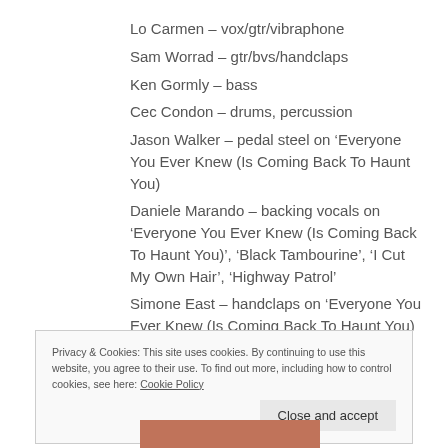Lo Carmen – vox/gtr/vibraphone
Sam Worrad – gtr/bvs/handclaps
Ken Gormly – bass
Cec Condon – drums, percussion
Jason Walker – pedal steel on ‘Everyone You Ever Knew (Is Coming Back To Haunt You)
Daniele Marando – backing vocals on ‘Everyone You Ever Knew (Is Coming Back To Haunt You)’, ‘Black Tambourine’, ‘I Cut My Own Hair’, ‘Highway Patrol’
Simone East – handclaps on ‘Everyone You Ever Knew (Is Coming Back To Haunt You)
Privacy & Cookies: This site uses cookies. By continuing to use this website, you agree to their use. To find out more, including how to control cookies, see here: Cookie Policy
Close and accept